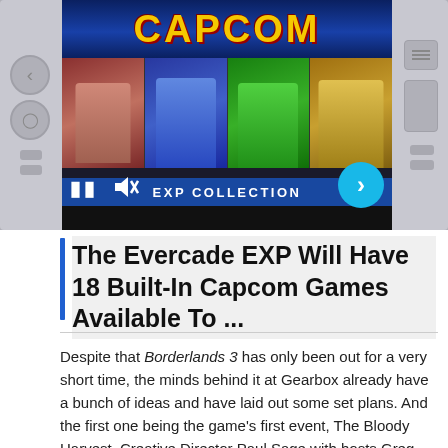[Figure (screenshot): Screenshot of a video player showing a Capcom EXP Collection promotional video on a handheld device interface. The video shows the Capcom logo, game character images, and an EXP COLLECTION banner. Video controls including pause, mute, and next arrow are visible.]
The Evercade EXP Will Have 18 Built-In Capcom Games Available To ...
Despite that Borderlands 3 has only been out for a very short time, the minds behind it at Gearbox already have a bunch of ideas and have laid out some set plans. And the first one being the game's first event, The Bloody Harvest. Creative Director Paul Sage with hosts Greg Miller and Fran Mirabella from Kinda Funny had announced this is the first episode of their Borderlands 3 – The Borderlands Show: Episode 1 that aired earlier today. In this first episode of the upcoming roadmap of their recent title includes the Halloween event that will be available for the month of Halloween.